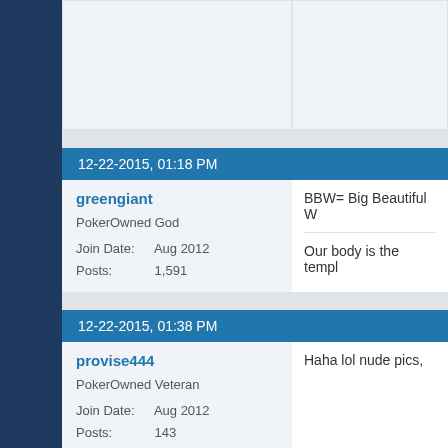12-22-2015, 01:18 PM
greengiant
PokerOwned God
Join Date: Aug 2012
Posts: 1,591
BBW= Big Beautiful W
Our body is the templ
12-22-2015, 01:38 PM
provise444
PokerOwned Veteran
Join Date: Aug 2012
Posts: 143
Haha lol nude pics,